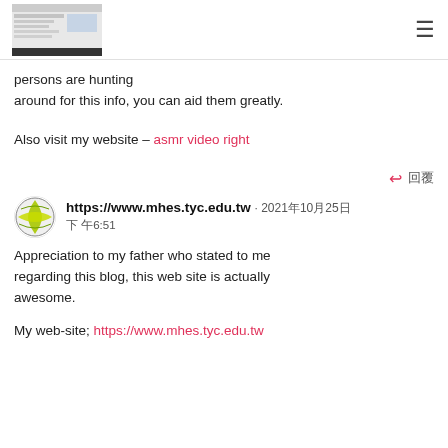https://www.mhes.tyc.edu.tw [screenshot thumbnail] [hamburger menu]
persons are hunting around for this info, you can aid them greatly.
Also visit my website – asmr video right
↩ 回覆
https://www.mhes.tyc.edu.tw · 2021年10月25日 下午6:51
Appreciation to my father who stated to me regarding this blog, this web site is actually awesome.
My web-site; https://www.mhes.tyc.edu.tw